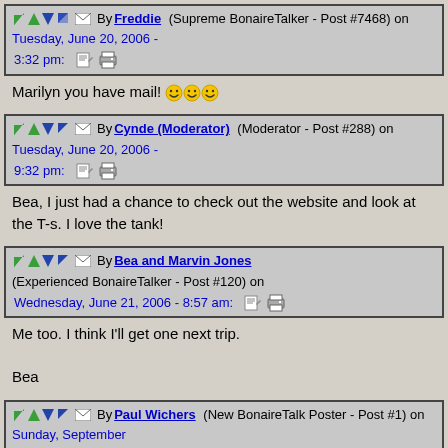By Freddie (Supreme BonaireTalker - Post #7468) on Tuesday, June 20, 2006 - 3:32 pm:
Marilyn you have mail! 😊😊😊
By Cynde (Moderator) (Moderator - Post #288) on Tuesday, June 20, 2006 - 9:32 pm:
Bea, I just had a chance to check out the website and look at the T-s. I love the tank!
By Bea and Marvin Jones (Experienced BonaireTalker - Post #120) on Wednesday, June 21, 2006 - 8:57 am:
Me too. I think I'll get one next trip.

Bea
By Paul Wichers (New BonaireTalk Poster - Post #1) on Sunday, September 17, 2006 - 3:20 pm:
Dear all,

I am very glad to read so much about the T-shirts of the Animal Shelter. First I am sorry that such a good initiative needs attention. After all,